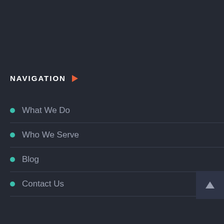NAVIGATION
What We Do
Who We Serve
Blog
Contact Us